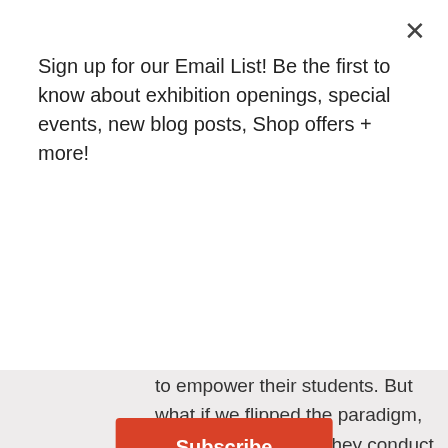Sign up for our Email List! Be the first to know about exhibition openings, special events, new blog posts, Shop offers + more!
[Figure (other): Subscribe button — a red rounded rectangle with white bold text reading 'Subscribe']
to empower their students. But what if we flipped the paradigm, supporting youth as they conduct their own inquiry into issues that matter to them? This youth-led session will provide insight into the University of Pennsylvania-St. Thomas Aquinas community research partnership in South Philadelphia and showcase youth research projects targeting a range of social justice issues. Educators will walk away with a better understanding of the